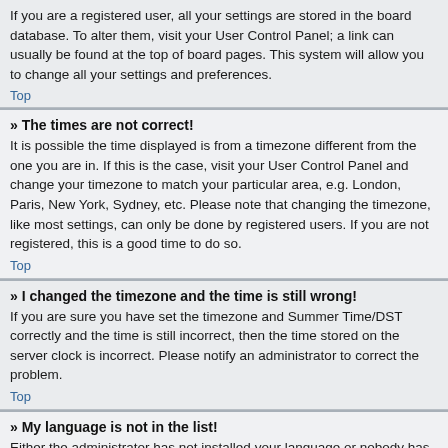If you are a registered user, all your settings are stored in the board database. To alter them, visit your User Control Panel; a link can usually be found at the top of board pages. This system will allow you to change all your settings and preferences.
Top
» The times are not correct!
It is possible the time displayed is from a timezone different from the one you are in. If this is the case, visit your User Control Panel and change your timezone to match your particular area, e.g. London, Paris, New York, Sydney, etc. Please note that changing the timezone, like most settings, can only be done by registered users. If you are not registered, this is a good time to do so.
Top
» I changed the timezone and the time is still wrong!
If you are sure you have set the timezone and Summer Time/DST correctly and the time is still incorrect, then the time stored on the server clock is incorrect. Please notify an administrator to correct the problem.
Top
» My language is not in the list!
Either the administrator has not installed your language or nobody has translated this board into your language. Try asking the board administrator if they can install the language pack you need. If the